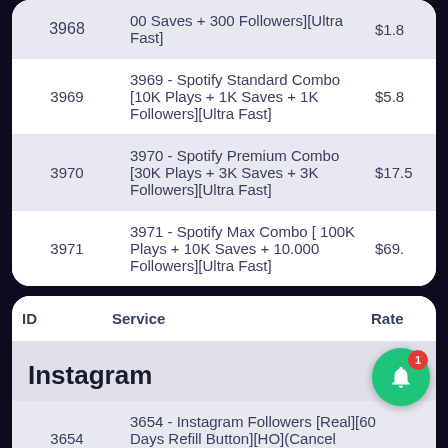| ID | Service | Rate |
| --- | --- | --- |
| 3968 (partial) | 00 Saves + 300 Followers][Ultra Fast] | $1.8... |
| 3969 | 3969 - Spotify Standard Combo [10K Plays + 1K Saves + 1K Followers][Ultra Fast] | $5.8... |
| 3970 | 3970 - Spotify Premium Combo [30K Plays + 3K Saves + 3K Followers][Ultra Fast] | $17.... |
| 3971 | 3971 - Spotify Max Combo [ 100K Plays + 10K Saves + 10.000 Followers][Ultra Fast] | $69.... |
| ID | Service | Rate |
| --- | --- | --- |
Instagram
| ID | Service | Rate |
| --- | --- | --- |
| 3654 | 3654 - Instagram Followers [Real][60 Days Refill Button][HO](Cancel Enabled)[300K/D][Instant][Ultra Fast] | ... |
| 48... (partial) | 48 - Instagram Followers [Real][90 Days... | ... |